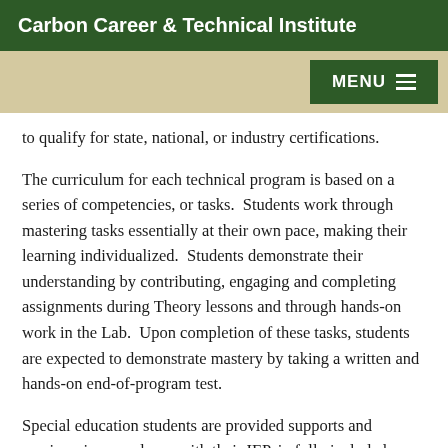Carbon Career & Technical Institute
to qualify for state, national, or industry certifications.
The curriculum for each technical program is based on a series of competencies, or tasks.  Students work through mastering tasks essentially at their own pace, making their learning individualized.  Students demonstrate their understanding by contributing, engaging and completing assignments during Theory lessons and through hands-on work in the Lab.  Upon completion of these tasks, students are expected to demonstrate mastery by taking a written and hands-on end-of-program test.
Special education students are provided supports and services, in accordance with their IEP, in fully included classrooms by